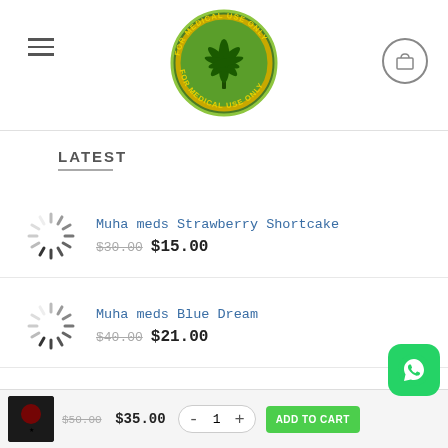[Figure (logo): Circular green cannabis leaf logo with text 'FOR MEDICAL USE ONLY' around the border]
LATEST
Muha meds Strawberry Shortcake $30.00 $15.00
Muha meds Blue Dream $40.00 $21.00
Muha meds Blue Raspberry $25.00 $20.00
$50.00 $35.00 - 1 + ADD TO CART